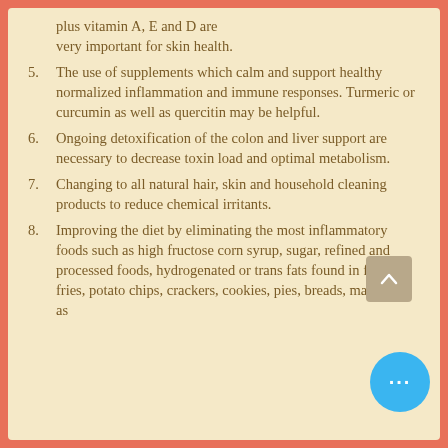plus vitamin A, E and D are very important for skin health.
5. The use of supplements which calm and support healthy normalized inflammation and immune responses. Turmeric or curcumin as well as quercitin may be helpful.
6. Ongoing detoxification of the colon and liver support are necessary to decrease toxin load and optimal metabolism.
7. Changing to all natural hair, skin and household cleaning products to reduce chemical irritants.
8. Improving the diet by eliminating the most inflammatory foods such as high fructose corn syrup, sugar, refined and processed foods, hydrogenated or trans fats found in french fries, potato chips, crackers, cookies, pies, breads, margarine, as